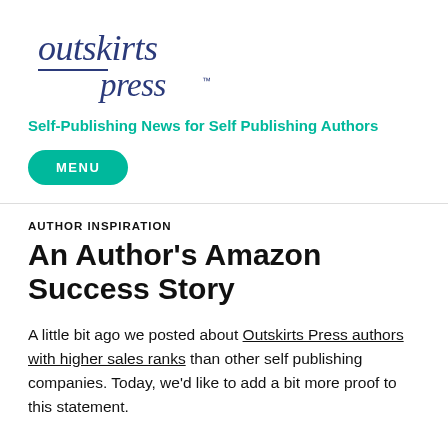[Figure (logo): Outskirts Press logo — stylized text with navy blue serif lettering 'outskirts' above a horizontal rule and 'press' in smaller text]
Self-Publishing News for Self Publishing Authors
MENU
AUTHOR INSPIRATION
An Author's Amazon Success Story
A little bit ago we posted about Outskirts Press authors with higher sales ranks than other self publishing companies. Today, we'd like to add a bit more proof to this statement.